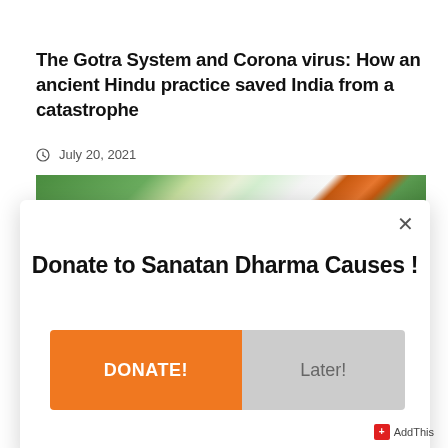The Gotra System and Corona virus: How an ancient Hindu practice saved India from a catastrophe
July 20, 2021
[Figure (photo): Outdoor scene with green trees and an orange column/pillar, partial view of a temple or garden]
Donate to Sanatan Dharma Causes !
DONATE!
Later!